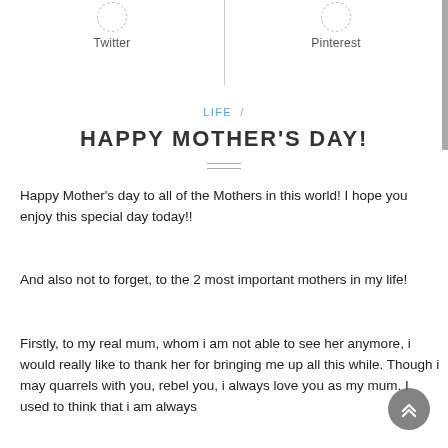[Figure (other): Twitter social icon circle (dashed border) with label below]
[Figure (other): Pinterest social icon circle (dashed border) with label below]
LIFE /
HAPPY MOTHER'S DAY!
Happy Mother's day to all of the Mothers in this world! I hope you enjoy this special day today!!
And also not to forget, to the 2 most important mothers in my life!
Firstly, to my real mum, whom i am not able to see her anymore, i would really like to thank her for bringing me up all this while. Though i may quarrels with you, rebel you, i always love you as my mum. I used to think that i am always